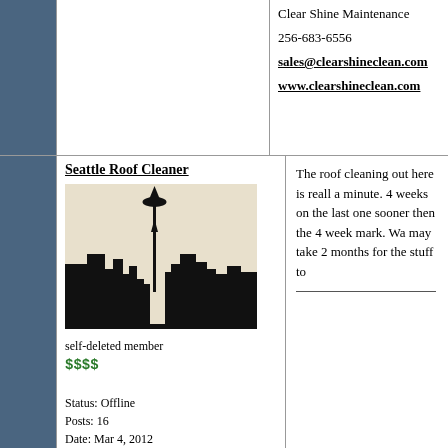Clear Shine Maintenance
256-683-6556
sales@clearshineclean.com
www.clearshineclean.com
Seattle Roof Cleaner
[Figure (illustration): Black silhouette of the Seattle skyline including the Space Needle against a beige/cream background]
self-deleted member
$$$$
Status: Offline
Posts: 16
Date: Mar 4, 2012
The roof cleaning out here is reall a minute. 4 weeks on the last one sooner then the 4 week mark. Wa may take 2 months for the stuff to